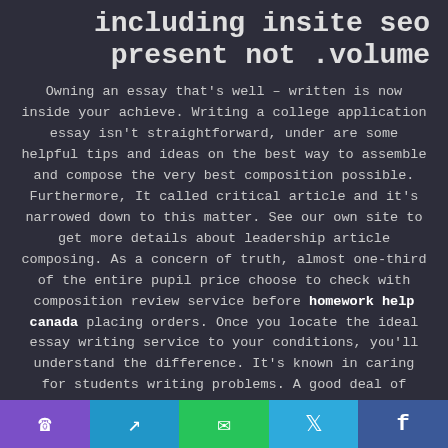including insite seo present not .volume
Owning an essay that's well – written is now inside your achieve. Writing a college application essay isn't straightforward, under are some helpful tips and ideas on the best way to assemble and compose the very best composition possible. Furthermore, It called critical article and it's narrowed down to this matter. See our own site to get more details about leadership article composing. As a concern of truth, almost one-third of the entire pupil price choose to check with composition review service before homework help canada placing orders. Once you locate the ideal essay writing service to your conditions, you'll understand the difference. It's known in caring for students writing problems. A good deal of writing services
phone | send | whatsapp | twitter | facebook